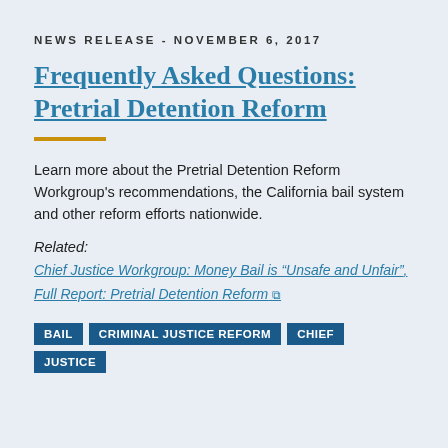NEWS RELEASE - NOVEMBER 6, 2017
Frequently Asked Questions: Pretrial Detention Reform
Learn more about the Pretrial Detention Reform Workgroup's recommendations, the California bail system and other reform efforts nationwide.
Related:
Chief Justice Workgroup: Money Bail is “Unsafe and Unfair”,
Full Report: Pretrial Detention Reform ⧉
BAIL
CRIMINAL JUSTICE REFORM
CHIEF JUSTICE